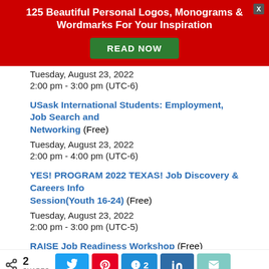[Figure (other): Red advertisement banner with title '125 Beautiful Personal Logos, Monograms & Wordmarks For Your Inspiration' and a green READ NOW button, with an X close button in top-right corner]
Tuesday, August 23, 2022
2:00 pm - 3:00 pm (UTC-6)
USask International Students: Employment, Job Search and Networking (Free)
Tuesday, August 23, 2022
2:00 pm - 4:00 pm (UTC-6)
YES! PROGRAM 2022 TEXAS! Job Discovery & Careers Info Session(Youth 16-24) (Free)
Tuesday, August 23, 2022
2:00 pm - 3:00 pm (UTC-5)
RAISE Job Readiness Workshop (Free)
2 SHARES | Share buttons: Twitter, Pinterest, Kando (2), LinkedIn, Email